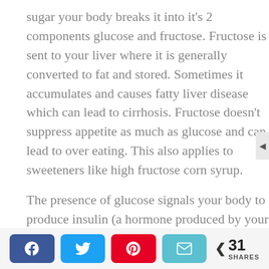sugar your body breaks it into it's 2 components glucose and fructose. Fructose is sent to your liver where it is generally converted to fat and stored. Sometimes it accumulates and causes fatty liver disease which can lead to cirrhosis. Fructose doesn't suppress appetite as much as glucose and can lead to over eating. This also applies to sweeteners like high fructose corn syrup.
The presence of glucose signals your body to produce insulin (a hormone produced by your pancreas). Imagine Insulin as a master